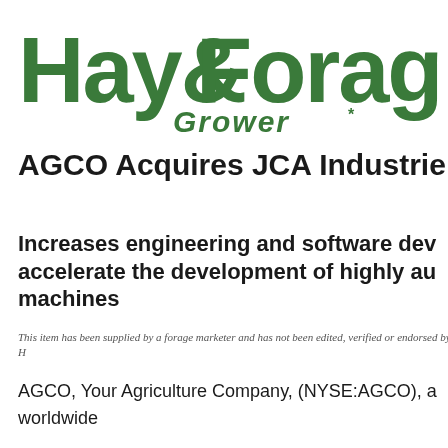[Figure (logo): Hay & Forage Grower logo in dark green]
AGCO Acquires JCA Industries
Increases engineering and software development capabilities to accelerate the development of highly automated agricultural machines
This item has been supplied by a forage marketer and has not been edited, verified or endorsed by Hay & Forage Grower.
AGCO, Your Agriculture Company, (NYSE:AGCO), a worldwide manufacturer and distributor of agricultural machinery and precision ag technology,